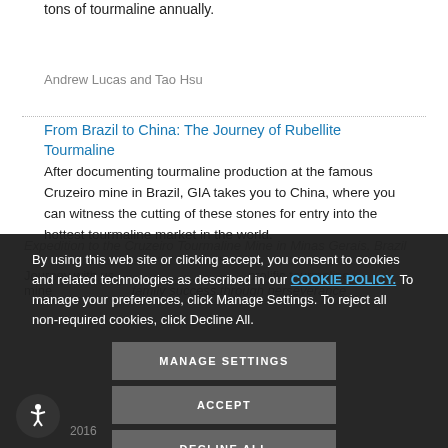tons of tourmaline annually.
Andrew Lucas and Tao Hsu
From Brazil to China: The Journey of Rubellite Tourmaline
After documenting tourmaline production at the famous Cruzeiro mine in Brazil, GIA takes you to China, where you can witness the cutting of these stones for entry into the hottest tourmaline market in the world.
By using this web site or clicking accept, you consent to cookies and related technologies as described in our COOKIE POLICY. To manage your preferences, click Manage Settings. To reject all non-required cookies, click Decline All.
Expedition to the Cruzeiro Tourmaline Mine in Minas Gerais, Brazil
Journey with us ... prolific tourmaline mine ... family success through perseverance ...
MANAGE SETTINGS
ACCEPT
DECLINE ALL